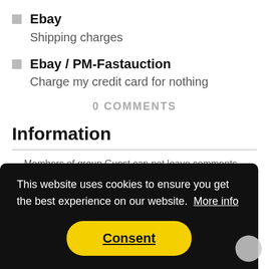Ebay
Shipping charges
Ebay / PM-Fastauction
Charge my credit card for nothing
0 COMMENTS
Information
Members of group Guest can not leave comments on this ...nds.
This website uses cookies to ensure you get the best experience on our website. More info
Consent